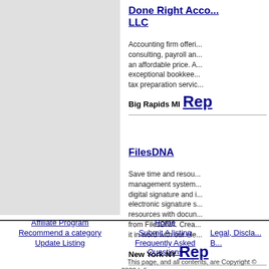[Figure (other): Gray panel on the left side of the page]
Done Right Accounting LLC
Accounting firm offering consulting, payroll and an affordable price. A exceptional bookkeeping tax preparation services
Big Rapids MI Rep
FilesDNA
Save time and resources management system digital signature and i electronic signature s resources with document from FilesDNA. Create it in word with our ele
New York NY Rep
Affiliate Program | Home | Recommend a category | Submit A listing | Legal, Discla... | Update Listing | Frequently Asked Questions | B... | This page, and all contents, are Copyright © 2022 Infi...